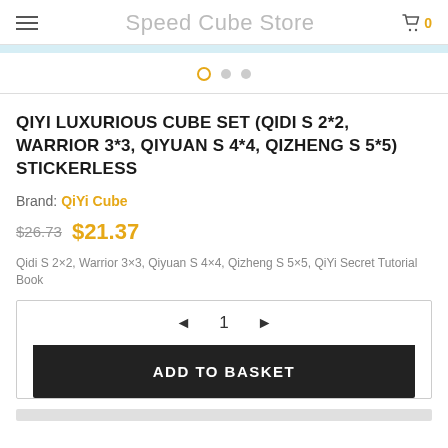Speed Cube Store
QIYI LUXURIOUS CUBE SET (QIDI S 2*2, WARRIOR 3*3, QIYUAN S 4*4, QIZHENG S 5*5) STICKERLESS
Brand: QiYi Cube
$26.73 $21.37
Qidi S 2×2, Warrior 3×3, Qiyuan S 4×4, Qizheng S 5×5, QiYi Secret Tutorial Book
◄ 1 ►
ADD TO BASKET